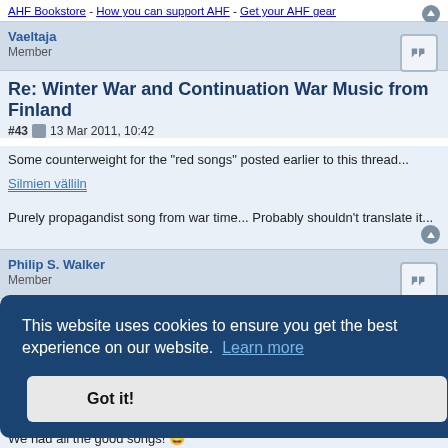AHF Bookstore - How you can support AHF - Get your AHF gear
Vaeltaja
Member
Re: Winter War and Continuation War Music from Finland
#43  13 Mar 2011, 10:42
Some counterweight for the "red songs" posted earlier to this thread...
Silmien välliln
Purely propagandist song from war time... Probably shouldn't translate it...
Philip S. Walker
Member
[Figure (screenshot): Cookie consent overlay: 'This website uses cookies to ensure you get the best experience on our website. Learn more' with a 'Got it!' button]
We had all the good songs!